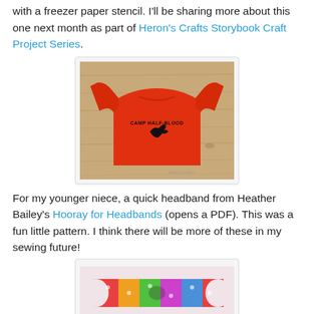with a freezer paper stencil.  I'll be sharing more about this one next month as part of Heron's Crafts Storybook Craft Project Series.
[Figure (photo): A red t-shirt with 'CAMP HALF-BLOOD' text and a Pegasus graphic printed on the chest, laid flat on a wood surface.]
For my younger niece, a quick headband from Heather Bailey's Hooray for Headbands (opens a PDF).  This was a fun little pattern.  I think there will be more of these in my sewing future!
[Figure (photo): A colorful patterned headband on a light pink background, partially visible at the bottom of the page.]